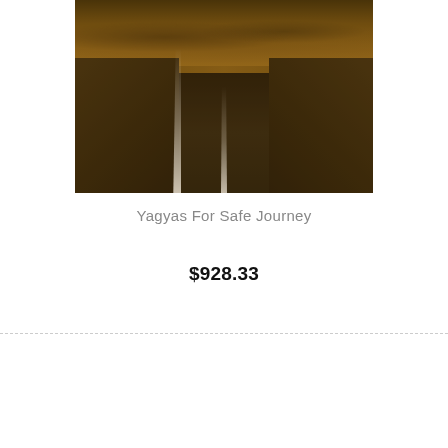[Figure (photo): A long straight road stretching to the horizon through a desert landscape under a dramatic warm golden-brown sepia-toned sky with dark clouds.]
Yagyas For Safe Journey
$928.33